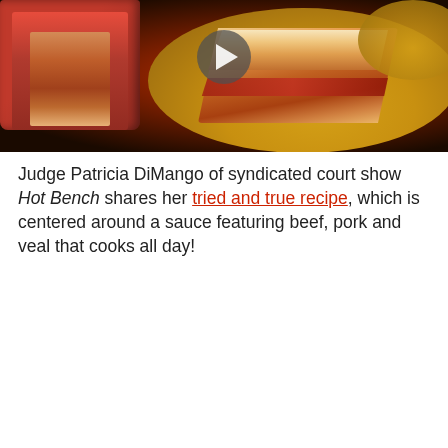[Figure (photo): A photo of lasagna — a red baking dish on the left and a slice of lasagna served on a yellow plate in the center, with a play button overlay indicating a video. Another yellow plate is partially visible at the top right.]
Judge Patricia DiMango of syndicated court show Hot Bench shares her tried and true recipe, which is centered around a sauce featuring beef, pork and veal that cooks all day!